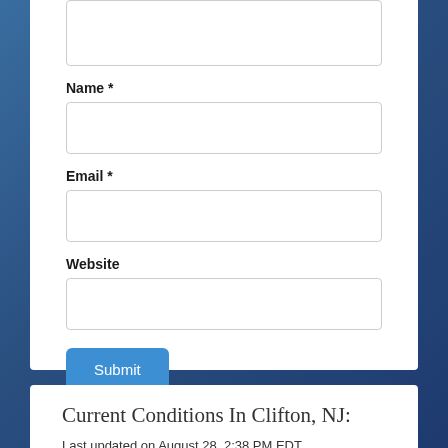Name *
Email *
Website
Submit
Current Conditions In Clifton, NJ:
Last updated on August 28, 2:38 PM EDT
Temperature: 80.8 F (27.1 C)